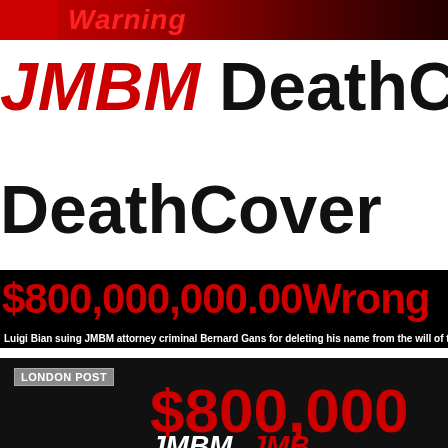Warning
JMBM DeathCo...
DeathCover...
$800,000,000.00 Wrong
Luigi Bian suing JMBM attorney criminal Bernard Gans for deleting his name from the will of t...
[Figure (other): London Post article section showing $800,000 and JMBM text on black background]